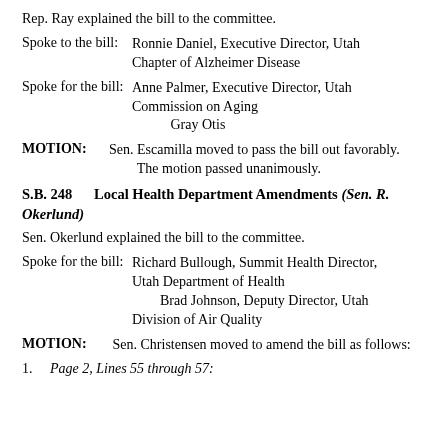Rep. Ray explained the bill to the committee.
Spoke to the bill:      Ronnie Daniel, Executive Director, Utah Chapter of Alzheimer Disease
Spoke for the bill:     Anne Palmer, Executive Director, Utah Commission on Aging
                        Gray Otis
MOTION:  Sen. Escamilla moved to pass the bill out favorably. The motion passed unanimously.
S.B. 248      Local Health Department Amendments (Sen. R. Okerlund)
Sen. Okerlund explained the bill to the committee.
Spoke for the bill:     Richard Bullough, Summit Health Director, Utah Department of Health
                        Brad Johnson, Deputy Director, Utah Division of Air Quality
MOTION:   Sen. Christensen moved to amend the bill as follows:
1.    Page 2, Lines 55 through 57: